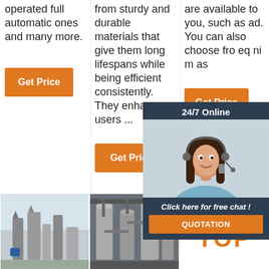operated full automatic ones and many more.
from sturdy and durable materials that give them long lifespans while being efficient consistently. They enhance users ...
are available to you, such as ad. You can also choose fro eq ni m as
[Figure (screenshot): 24/7 online chat widget with customer service representative photo and 'Click here for free chat!' text, plus QUOTATION button]
[Figure (photo): Industrial milling or grain processing machine]
[Figure (photo): Industrial plant interior with large processing equipment]
[Figure (logo): TOP logo with orange dots arc above the word TOP in orange]